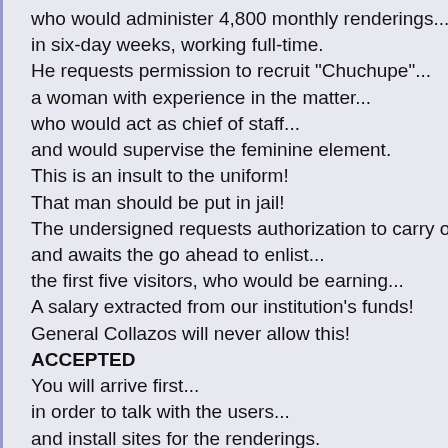who would administer 4,800 monthly renderings...
in six-day weeks, working full-time.
He requests permission to recruit "Chuchupe"...
a woman with experience in the matter...
who would act as chief of staff...
and would supervise the feminine element.
This is an insult to the uniform!
That man should be put in jail!
The undersigned requests authorization to carry out a trial ex
and awaits the go ahead to enlist...
the first five visitors, who would be earning...
A salary extracted from our institution's funds!
General Collazos will never allow this!
ACCEPTED
You will arrive first...
in order to talk with the users...
and install sites for the renderings.
Sites? Renderings?
You have to get used to the terms.
Users are clients, sites are the beds...
renderings are screwings...